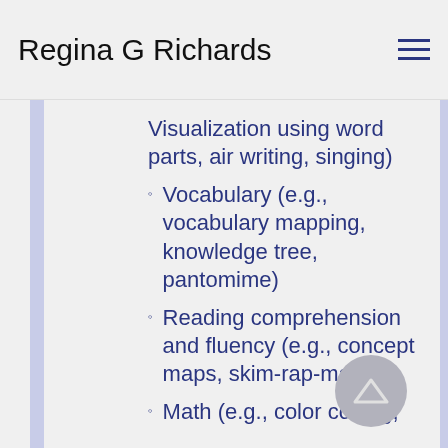Regina G Richards
Visualization using word parts, air writing, singing)
Vocabulary (e.g., vocabulary mapping, knowledge tree, pantomime)
Reading comprehension and fluency (e.g., concept maps, skim-rap-map)
Math (e.g., color coding,